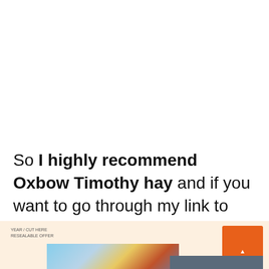So I highly recommend Oxbow Timothy hay and if you want to go through my link to Amazon, click on the following button.
[Figure (other): Advertisement banner with a cream/peach background showing an airplane being loaded with cargo, an orange button in the top right, a small label reading 'YEAR / CUT HERE RESEALABLE OFFER', and a dark gray overlay box with text 'WITHOUT REGARD TO POLITICS, RELIGION, OR ABILITY TO PAY'.]